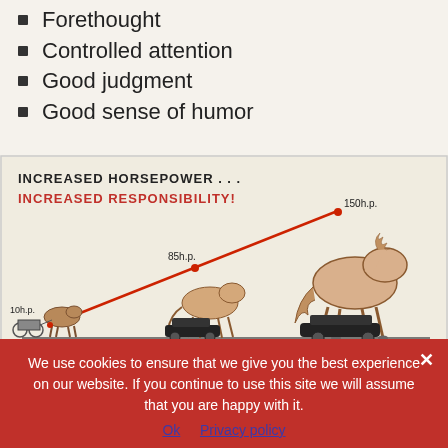Forethought
Controlled attention
Good judgment
Good sense of humor
[Figure (illustration): Illustration showing increased horsepower over time with three horses of increasing size pulling cars, with a diagonal red line showing progression from 10h.p. in 'the EARLY DAYS' to 85h.p. 'In the 1940s' to 150h.p. 'NOWADAYS'. Title reads 'INCREASED HORSEPOWER ... INCREASED RESPONSIBILITY!']
Responsibility and Sportsmanship. It is difficult to draw a